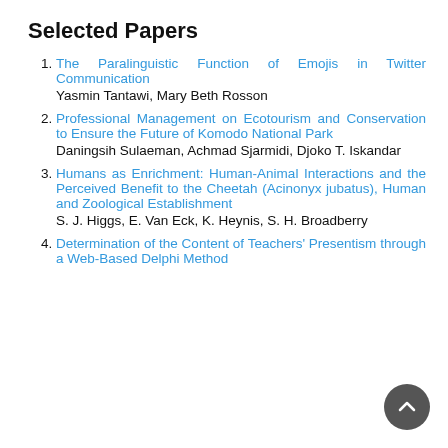Selected Papers
The Paralinguistic Function of Emojis in Twitter Communication
Yasmin Tantawi, Mary Beth Rosson
Professional Management on Ecotourism and Conservation to Ensure the Future of Komodo National Park
Daningsih Sulaeman, Achmad Sjarmidi, Djoko T. Iskandar
Humans as Enrichment: Human-Animal Interactions and the Perceived Benefit to the Cheetah (Acinonyx jubatus), Human and Zoological Establishment
S. J. Higgs, E. Van Eck, K. Heynis, S. H. Broadberry
Determination of the Content of Teachers' Presentism through a Web-Based Delphi Method